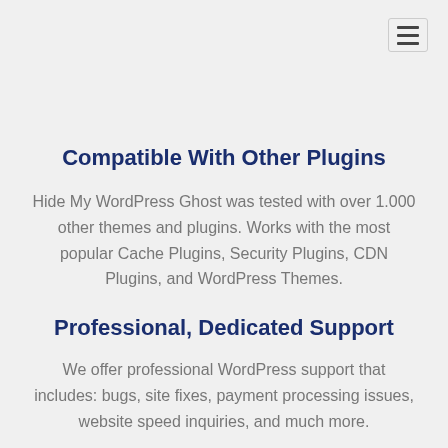Compatible With Other Plugins
Hide My WordPress Ghost was tested with over 1.000 other themes and plugins. Works with the most popular Cache Plugins, Security Plugins, CDN Plugins, and WordPress Themes.
Professional, Dedicated Support
We offer professional WordPress support that includes: bugs, site fixes, payment processing issues, website speed inquiries, and much more.